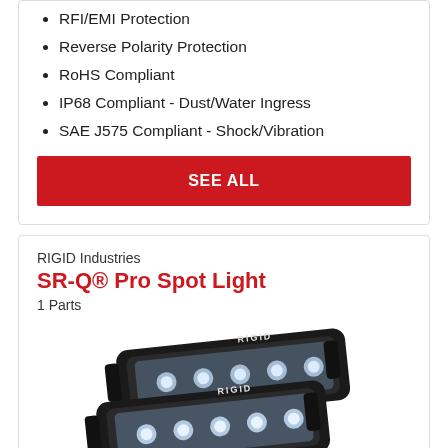RFI/EMI Protection
Reverse Polarity Protection
RoHS Compliant
IP68 Compliant - Dust/Water Ingress
SAE J575 Compliant - Shock/Vibration
SEE ALL
RIGID Industries
SR-Q® Pro Spot Light
1 Parts
[Figure (photo): Two RIGID Industries SR-Q Pro Spot Lights with black housings and clear LED lenses, stacked at an angle showing the RIGID branding.]